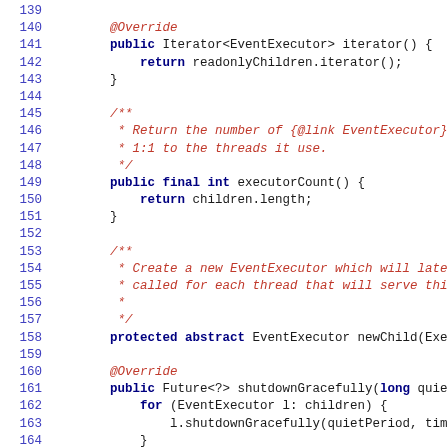[Figure (screenshot): Java source code listing showing lines 139-166 of a class with methods iterator(), executorCount(), newChild(), and shutdownGracefully(). Line numbers in blue on left, keywords in bold dark blue, comments in italic red.]